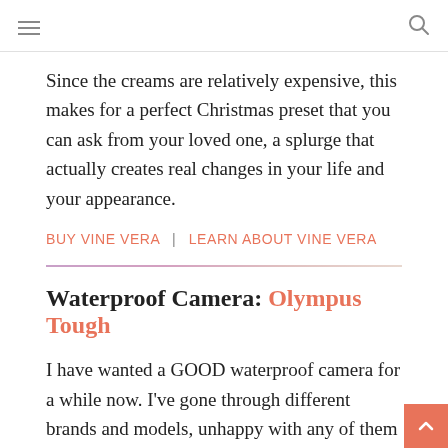≡  🔍
Since the creams are relatively expensive, this makes for a perfect Christmas preset that you can ask from your loved one, a splurge that actually creates real changes in your life and your appearance.
BUY VINE VERA | LEARN ABOUT VINE VERA
Waterproof Camera: Olympus Tough
I have wanted a GOOD waterproof camera for a while now. I've gone through different brands and models, unhappy with any of them and their quality—